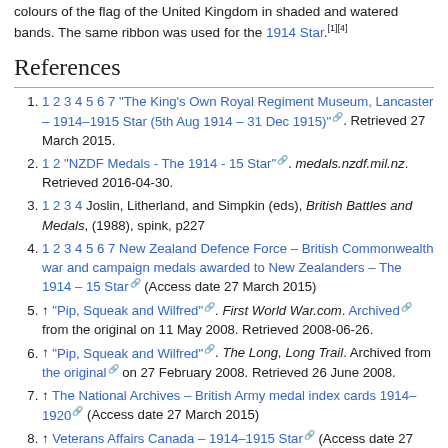colours of the flag of the United Kingdom in shaded and watered bands. The same ribbon was used for the 1914 Star.[1][4]
References
1 2 3 4 5 6 7 "The King's Own Royal Regiment Museum, Lancaster – 1914–1915 Star (5th Aug 1914 – 31 Dec 1915)". Retrieved 27 March 2015.
1 2 "NZDF Medals - The 1914 - 15 Star". medals.nzdf.mil.nz. Retrieved 2016-04-30.
1 2 3 4 Joslin, Litherland, and Simpkin (eds), British Battles and Medals, (1988), spink, p227
1 2 3 4 5 6 7 New Zealand Defence Force – British Commonwealth war and campaign medals awarded to New Zealanders – The 1914 – 15 Star (Access date 27 March 2015)
↑ "Pip, Squeak and Wilfred". First World War.com. Archived from the original on 11 May 2008. Retrieved 2008-06-26.
↑ "Pip, Squeak and Wilfred". The Long, Long Trail. Archived from the original on 27 February 2008. Retrieved 26 June 2008.
↑ The National Archives – British Army medal index cards 1914–1920 (Access date 27 March 2015)
↑ Veterans Affairs Canada – 1914–1915 Star (Access date 27